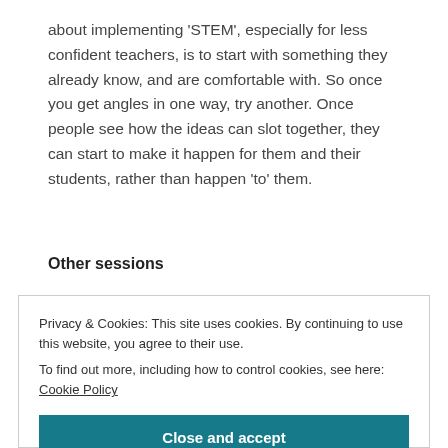about implementing 'STEM', especially for less confident teachers, is to start with something they already know, and are comfortable with. So once you get angles in one way, try another. Once people see how the ideas can slot together, they can start to make it happen for them and their students, rather than happen 'to' them.
Other sessions
Privacy & Cookies: This site uses cookies. By continuing to use this website, you agree to their use.
To find out more, including how to control cookies, see here: Cookie Policy
Close and accept